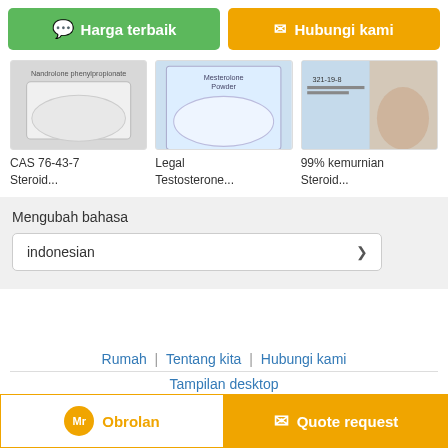Harga terbaik
Hubungi kami
[Figure (photo): Product photo 1: white powder in bag, CAS 76-43-7 Steroid...]
CAS 76-43-7 Steroid...
[Figure (photo): Product photo 2: white powder labeled Mesterolone, Legal Testosterone...]
Legal Testosterone...
[Figure (photo): Product photo 3: 99% kemurnian Steroid...]
99% kemurnian Steroid...
Mengubah bahasa
indonesian
Rumah | Tentang kita | Hubungi kami
Tampilan desktop
Copyright © 2015 - 2022 powder-steroid.com. All rights reserved.
Obrolan
Quote request